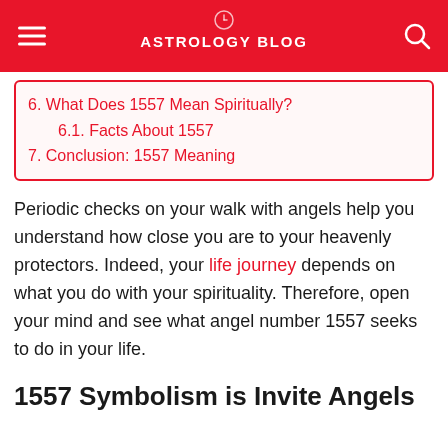ASTROLOGY BLOG
6. What Does 1557 Mean Spiritually?
6.1. Facts About 1557
7. Conclusion: 1557 Meaning
Periodic checks on your walk with angels help you understand how close you are to your heavenly protectors. Indeed, your life journey depends on what you do with your spirituality. Therefore, open your mind and see what angel number 1557 seeks to do in your life.
1557 Symbolism is Invite Angels